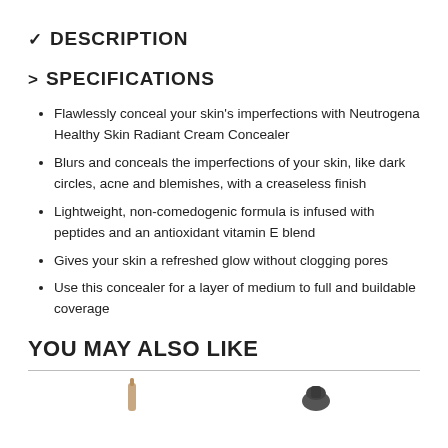∨ DESCRIPTION
> SPECIFICATIONS
Flawlessly conceal your skin's imperfections with Neutrogena Healthy Skin Radiant Cream Concealer
Blurs and conceals the imperfections of your skin, like dark circles, acne and blemishes, with a creaseless finish
Lightweight, non-comedogenic formula is infused with peptides and an antioxidant vitamin E blend
Gives your skin a refreshed glow without clogging pores
Use this concealer for a layer of medium to full and buildable coverage
YOU MAY ALSO LIKE
[Figure (photo): Product thumbnail images for 'You May Also Like' section]